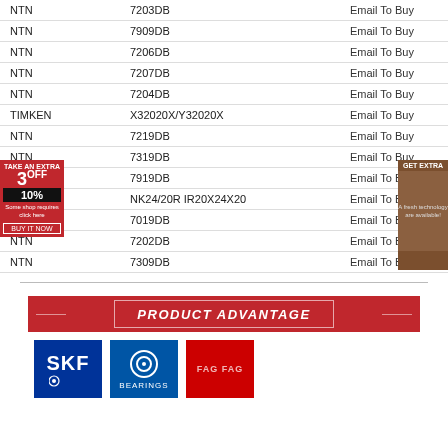| Brand | Part Number | Action |
| --- | --- | --- |
| NTN | 7203DB | Email To Buy |
| NTN | 7909DB | Email To Buy |
| NTN | 7206DB | Email To Buy |
| NTN | 7207DB | Email To Buy |
| NTN | 7204DB | Email To Buy |
| TIMKEN | X32020X/Y32020X | Email To Buy |
| NTN | 7219DB | Email To Buy |
| NTN | 7319DB | Email To Buy |
| NTN | 7919DB | Email To Buy |
| NTN | NK24/20R IR20X24X20 | Email To Buy |
| NTN | 7019DB | Email To Buy |
| NTN | 7202DB | Email To Buy |
| NTN | 7309DB | Email To Buy |
[Figure (infographic): Product Advantage section with SKF, NSK, FAG brand logos]